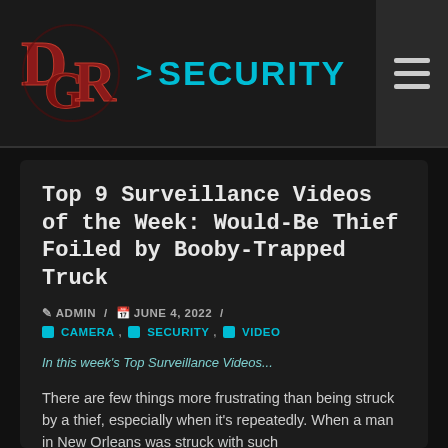[Figure (logo): DCR Security website header with DCR logo in red/dark metallic letters on the left and '>SECURITY' text in cyan on the right, plus a hamburger menu icon in the top right corner]
Top 9 Surveillance Videos of the Week: Would-Be Thief Foiled by Booby-Trapped Truck
ADMIN / JUNE 4, 2022 /
CAMERA, SECURITY, VIDEO
In this week's Top Surveillance Videos...
There are few things more frustrating than being struck by a thief, especially when it's repeatedly. When a man in New Orleans was struck with such